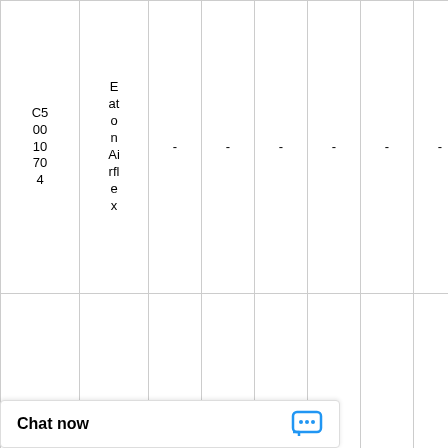| Code | Brand | Col3 | Col4 | Col5 | Col6 | Col7 | Col8 | Col9 | Col10 |
| --- | --- | --- | --- | --- | --- | --- | --- | --- | --- |
| C500 1070 4 | Eaton Airflex | - | - | - | - | - | - | - | - |
| 40 CB 52 51 42 27 3 | Eaton Airflex | - | - | - | - | - | - | [WhatsApp Online] | - |
| 10 CB 30 0 | Eaton Ai... | - | - | - | 35 lb; 16... | - | - | - | - |